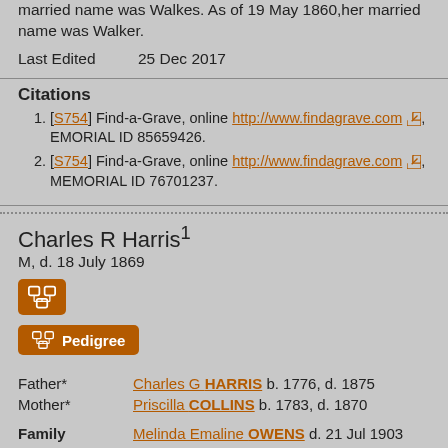married name was Walkes. As of 19 May 1860, her married name was Walker.
Last Edited    25 Dec 2017
Citations
[S754] Find-a-Grave, online http://www.findagrave.com, EMORIAL ID 85659426.
[S754] Find-a-Grave, online http://www.findagrave.com, MEMORIAL ID 76701237.
Charles R Harris¹
M, d. 18 July 1869
Pedigree
Father*    Charles G HARRIS b. 1776, d. 1875
Mother*    Priscilla COLLINS b. 1783, d. 1870
Family    Melinda Emaline OWENS d. 21 Jul 1903
Children    Mary G HARRIS⁴ b. 1840
            Elizabeth J HARRIS⁵ b. 1844